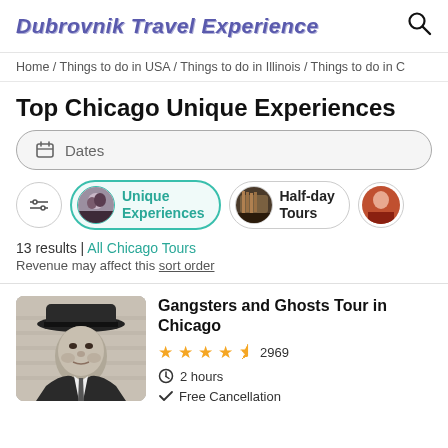Dubrovnik Travel Experience
Home / Things to do in USA / Things to do in Illinois / Things to do in C
Top Chicago Unique Experiences
Dates
Unique Experiences | Half-day Tours
13 results | All Chicago Tours
Revenue may affect this sort order
Gangsters and Ghosts Tour in Chicago
2969 reviews, 4.5 stars, 2 hours, Free Cancellation